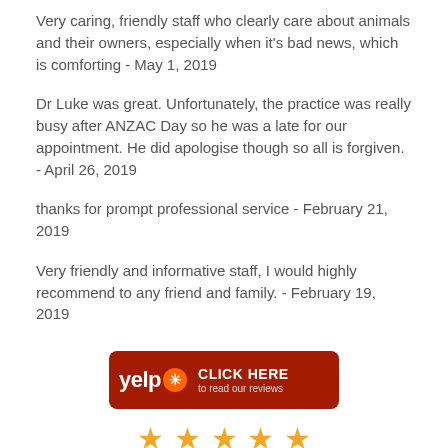Very caring, friendly staff who clearly care about animals and their owners, especially when it's bad news, which is comforting - May 1, 2019
Dr Luke was great. Unfortunately, the practice was really busy after ANZAC Day so he was a late for our appointment. He did apologise though so all is forgiven. - April 26, 2019
thanks for prompt professional service - February 21, 2019
Very friendly and informative staff, I would highly recommend to any friend and family. - February 19, 2019
[Figure (logo): Yelp button with dark red background, Yelp logo in white with orange burst icon, text CLICK HERE to read our reviews]
[Figure (illustration): Five gold/orange star rating icons at the bottom of the page]